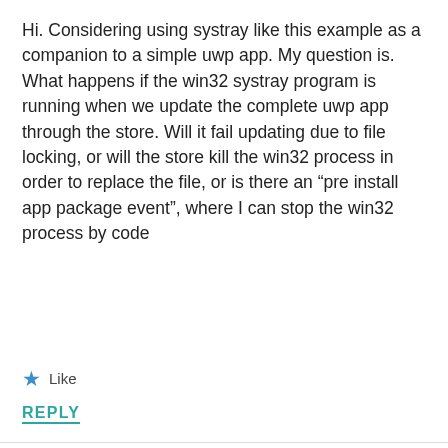Hi. Considering using systray like this example as a companion to a simple uwp app. My question is. What happens if the win32 systray program is running when we update the complete uwp app through the store. Will it fail updating due to file locking, or will the store kill the win32 process in order to replace the file, or is there an “pre install app package event”, where I can stop the win32 process by code
★ Like
REPLY
[Figure (photo): User avatar photo of a person with short hair, circular crop, brownish tones]
stefanwick
Advertisements
[Figure (logo): WordPress WP VIP logo]
[Figure (infographic): Advertisement banner with gradient pink/purple background and Learn more arrow button]